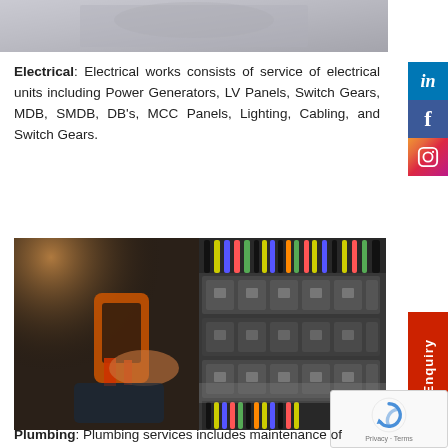[Figure (photo): Partial top image showing a worker, cropped at the top of the page]
Electrical: Electrical works consists of service of electrical units including Power Generators, LV Panels, Switch Gears, MDB, SMDB, DB's, MCC Panels, Lighting, Cabling, and Switch Gears.
[Figure (photo): Electrician using a clamp meter multimeter to test and inspect electrical wiring in an industrial control panel with colorful cables]
Plumbing: Plumbing services includes maintenance of